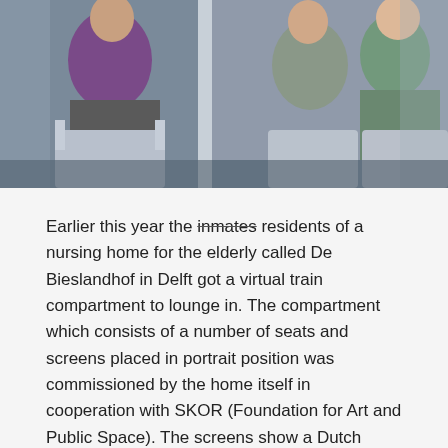[Figure (photo): Elderly residents seated in what appears to be a simulated train compartment. Several people are visible, one in a purple top, others in patterned clothing, seated in modern chairs with screens/panels behind them.]
Earlier this year the inmates residents of a nursing home for the elderly called De Bieslandhof in Delft got a virtual train compartment to lounge in. The compartment which consists of a number of seats and screens placed in portrait position was commissioned by the home itself in cooperation with SKOR (Foundation for Art and Public Space). The screens show a Dutch landscape of tree-lined meadows gently rolling by.
Says SKOR:
Groups of residents can have a cup of tea or coffee in De coupé [the name of the objet d'art, translates as The compartment—Branko] as